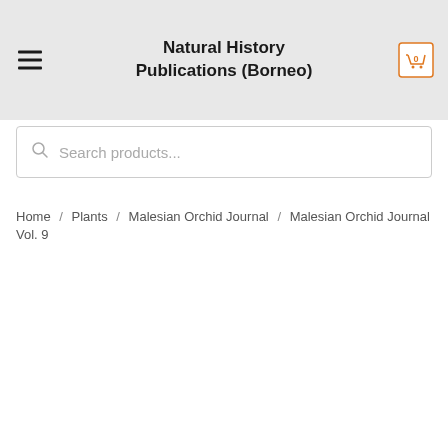Natural History Publications (Borneo)
Search products...
Home / Plants / Malesian Orchid Journal / Malesian Orchid Journal Vol. 9